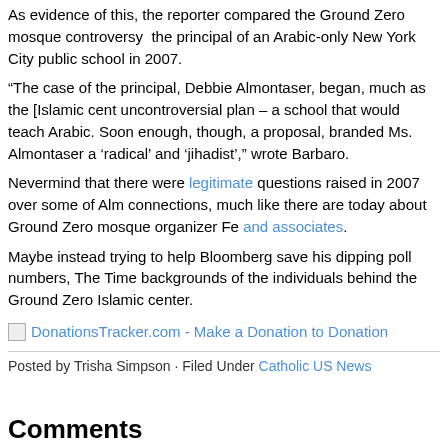As evidence of this, the reporter compared the Ground Zero mosque controversy to the principal of an Arabic-only New York City public school in 2007.
“The case of the principal, Debbie Almontaser, began, much as the [Islamic center’s] uncontroversial plan – a school that would teach Arabic. Soon enough, though, a... proposal, branded Ms. Almontaser a ‘radical’ and ‘jihadist’,” wrote Barbaro.
Nevermind that there were legitimate questions raised in 2007 over some of Alm... connections, much like there are today about Ground Zero mosque organizer Fe... and associates.
Maybe instead trying to help Bloomberg save his dipping poll numbers, The Time... backgrounds of the individuals behind the Ground Zero Islamic center.
[Figure (other): DonationsTracker.com - Make a Donation to Donation (broken image with link text)]
Posted by Trisha Simpson · Filed Under Catholic US News
Comments
2 Responses to “NY Times Hails Bloomberg’s Mosque Support in Front-Pa...
PHIL on August 16th, 2010 9:13 am